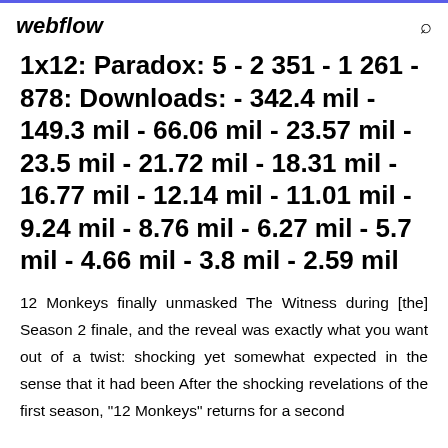webflow
1x12: Paradox: 5 - 2 351 - 1 261 - 878: Downloads: - 342.4 mil - 149.3 mil - 66.06 mil - 23.57 mil - 23.5 mil - 21.72 mil - 18.31 mil - 16.77 mil - 12.14 mil - 11.01 mil - 9.24 mil - 8.76 mil - 6.27 mil - 5.7 mil - 4.66 mil - 3.8 mil - 2.59 mil
12 Monkeys finally unmasked The Witness during [the] Season 2 finale, and the reveal was exactly what you want out of a twist: shocking yet somewhat expected in the sense that it had been After the shocking revelations of the first season, "12 Monkeys" returns for a second